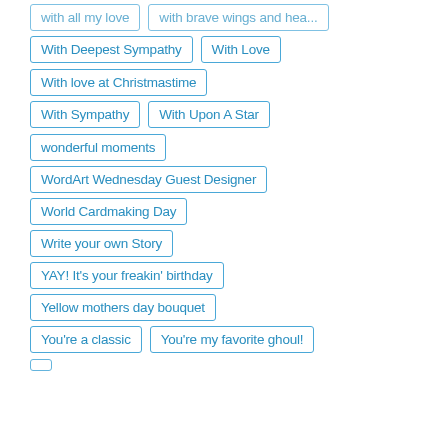With Deepest Sympathy
With Love
With love at Christmastime
With Sympathy
With Upon A Star
wonderful moments
WordArt Wednesday Guest Designer
World Cardmaking Day
Write your own Story
YAY! It's your freakin' birthday
Yellow mothers day bouquet
You're a classic
You're my favorite ghoul!